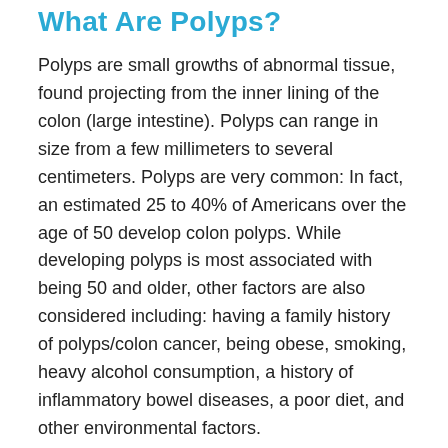What Are Polyps?
Polyps are small growths of abnormal tissue, found projecting from the inner lining of the colon (large intestine). Polyps can range in size from a few millimeters to several centimeters. Polyps are very common: In fact, an estimated 25 to 40% of Americans over the age of 50 develop colon polyps. While developing polyps is most associated with being 50 and older, other factors are also considered including: having a family history of polyps/colon cancer, being obese, smoking, heavy alcohol consumption, a history of inflammatory bowel diseases, a poor diet, and other environmental factors.
The vast majority of polyps are harmless, but they can also be precancerous or cancerous in nature. Polyps can take a long time to become cancerous, and are best to be removed upon identification. During a medical exam or colonoscopy, your doctor may identify